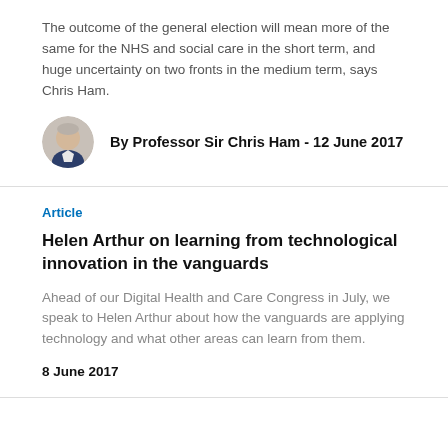The outcome of the general election will mean more of the same for the NHS and social care in the short term, and huge uncertainty on two fronts in the medium term, says Chris Ham.
By Professor Sir Chris Ham - 12 June 2017
Article
Helen Arthur on learning from technological innovation in the vanguards
Ahead of our Digital Health and Care Congress in July, we speak to Helen Arthur about how the vanguards are applying technology and what other areas can learn from them.
8 June 2017